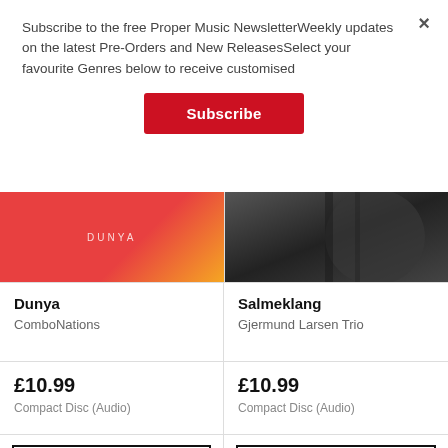Subscribe to the free Proper Music NewsletterWeekly updates on the latest Pre-Orders and New ReleasesSelect your favourite Genres below to receive customised
Subscribe
[Figure (illustration): Album cover for Dunya by ComboNations — orange/red gradient background with 'DUNYA' text]
[Figure (photo): Black and white photo for Salmeklang by Gjermund Larsen Trio]
Dunya
ComboNations
Salmeklang
Gjermund Larsen Trio
£10.99
Compact Disc (Audio)
£10.99
Compact Disc (Audio)
ADD TO BASKET
ADD TO BASKET